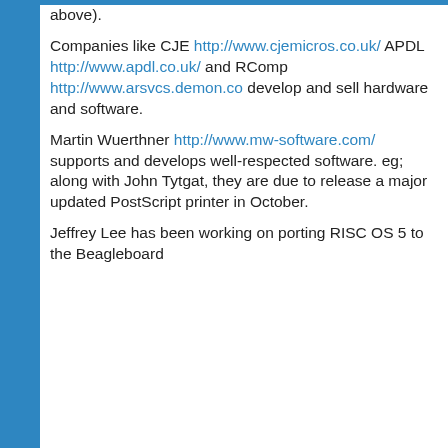above).

Companies like CJE http://www.cjemicros.co.uk/ APDL http://www.apdl.co.uk/ and RComp http://www.arsvcs.demon.co develop and sell hardware and software.

Martin Wuerthner http://www.mw-software.com/ supports and develops well-respected software. eg; along with John Tytgat, they are due to release a major updated PostScript printer in October.

Jeffrey Lee has been working on porting RISC OS 5 to the Beagleboard